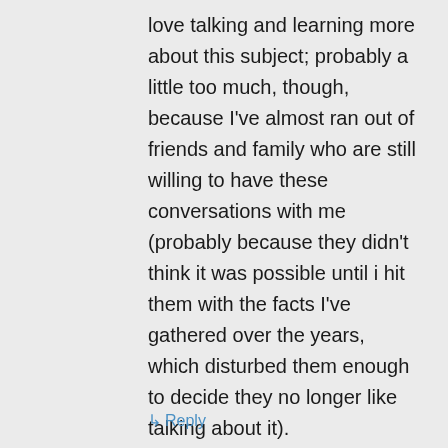love talking and learning more about this subject; probably a little too much, though, because I've almost ran out of friends and family who are still willing to have these conversations with me (probably because they didn't think it was possible until i hit them with the facts I've gathered over the years, which disturbed them enough to decide they no longer like talking about it).
↳ Reply